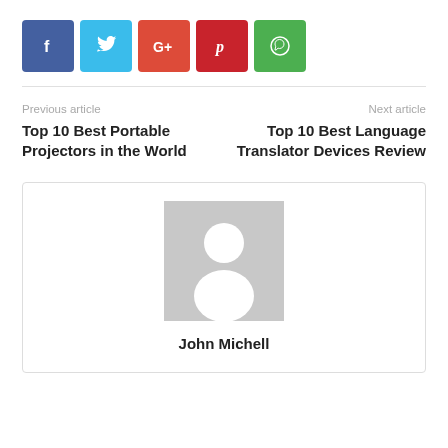[Figure (other): Social share buttons: Facebook (blue), Twitter (cyan), Google+ (orange-red), Pinterest (red), WhatsApp (green)]
Previous article
Top 10 Best Portable Projectors in the World
Next article
Top 10 Best Language Translator Devices Review
[Figure (photo): Generic user avatar placeholder image — grey background with white silhouette of a person]
John Michell